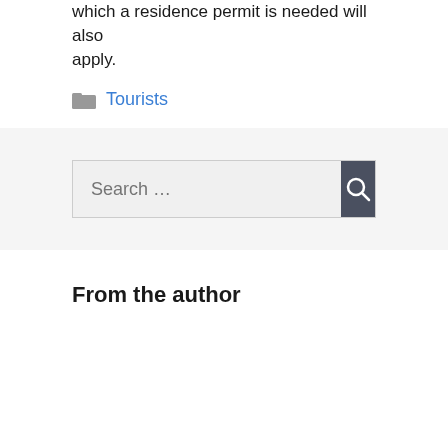which a residence permit is needed will also apply.
Tourists
[Figure (other): Search bar with text input field reading 'Search ...' and a dark grey button with a magnifying glass icon]
From the author